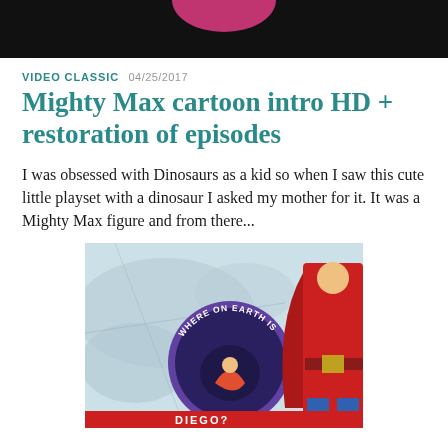[Figure (photo): Dark background with a pink/magenta curved shape at the top center, likely a cropped image from a video thumbnail]
VIDEO CLASSIC 04/25/2017
Mighty Max cartoon intro HD + restoration of episodes
I was obsessed with Dinosaurs as a kid so when I saw this cute little playset with a dinosaur I asked my mother for it. It was a Mighty Max figure and from there...
[Figure (photo): Cartoon/comic image showing a globe badge with 'WHERE ON EARTH IS' text and animated characters, alongside a figure in a red cape costume]